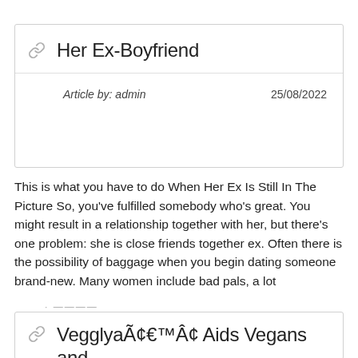Her Ex-Boyfriend
Article by: admin    25/08/2022
This is what you have to do When Her Ex Is Still In The Picture So, you've fulfilled somebody who's great. You might result in a relationship together with her, but there's one problem: she is close friends together ex. Often there is the possibility of baggage when you begin dating someone brand-new. Many women include bad pals, a lot
0 Responses to "Her Ex-Boyfriend"
Vegglya N¢ Aids Vegans and Vegetarians Dis...